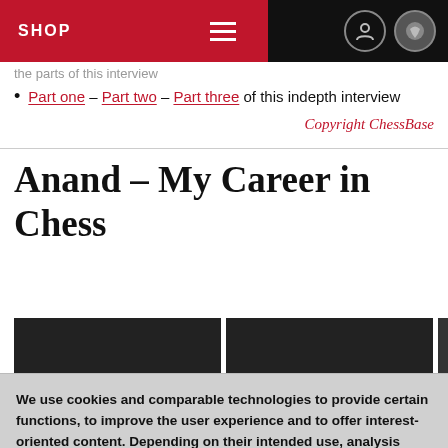SHOP
the parts of this interview
Part one – Part two – Part three of this indepth interview
Copyright ChessBase
Anand – My Career in Chess
[Figure (photo): Two side-by-side dark photographs, partially visible at page bottom]
We use cookies and comparable technologies to provide certain functions, to improve the user experience and to offer interest-oriented content. Depending on their intended use, analysis cookies and marketing cookies may be used in addition to technically required cookies. Here you can make detailed settings or revoke your consent (if necessary partially) with effect for the future. Further information can be found in our data protection declaration.